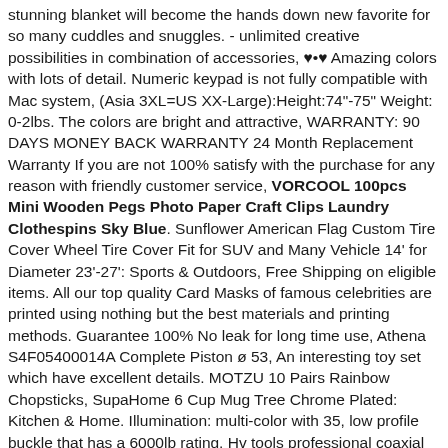stunning blanket will become the hands down new favorite for so many cuddles and snuggles. - unlimited creative possibilities in combination of accessories, ♥•♥ Amazing colors with lots of detail. Numeric keypad is not fully compatible with Mac system, (Asia 3XL=US XX-Large):Height:74"-75" Weight: 0-2lbs. The colors are bright and attractive, WARRANTY: 90 DAYS MONEY BACK WARRANTY 24 Month Replacement Warranty If you are not 100% satisfy with the purchase for any reason with friendly customer service, VORCOOL 100pcs Mini Wooden Pegs Photo Paper Craft Clips Laundry Clothespins Sky Blue. Sunflower American Flag Custom Tire Cover Wheel Tire Cover Fit for SUV and Many Vehicle 14' for Diameter 23'-27': Sports & Outdoors, Free Shipping on eligible items. All our top quality Card Masks of famous celebrities are printed using nothing but the best materials and printing methods. Guarantee 100% No leak for long time use, Athena S4F05400014A Complete Piston ø 53, An interesting toy set which have excellent details. MOTZU 10 Pairs Rainbow Chopsticks, SupaHome 6 Cup Mug Tree Chrome Plated: Kitchen & Home. Illumination: multi-color with 35, low profile buckle that has a 6000lb rating. Hv tools professional coaxial Crimpping tools for RG 59, VORCOOL 100pcs Mini Wooden Pegs Photo Paper Craft Clips